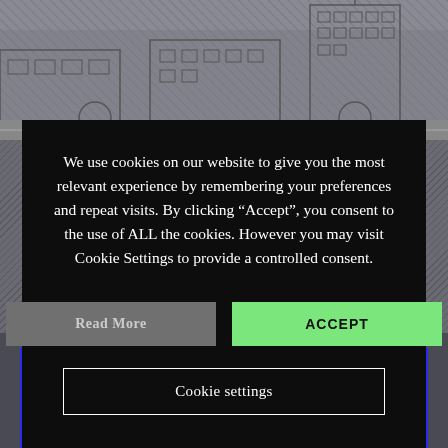[Figure (illustration): Dark cityscape background with buildings illustrated in outline style on a grey hatched background]
We use cookies on our website to give you the most relevant experience by remembering your preferences and repeat visits. By clicking “Accept”, you consent to the use of ALL the cookies. However you may visit Cookie Settings to provide a controlled consent.
Read More
ACCEPT
Cookie settings
DOCUMENTS
PROJECT LAUNCH
The Irish Ti...